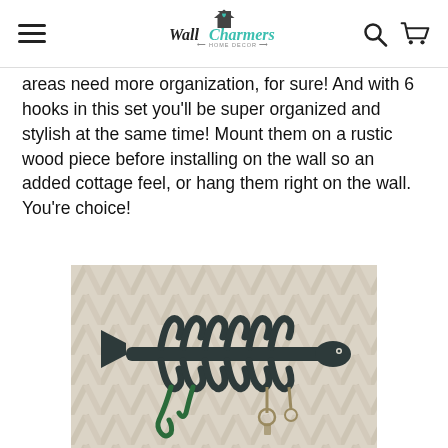Wall Charmers — navigation header with logo, hamburger menu, search and cart icons
areas need more organization, for sure! And with 6 hooks in this set you'll be super organized and stylish at the same time! Mount them on a rustic wood piece before installing on the wall so an added cottage feel, or hang them right on the wall. You're choice!
[Figure (photo): A cast iron fish bone shaped wall hook rack with 6 hooks, mounted on a herringbone patterned whitewashed wood background. A green leash and keys are hanging from the hooks.]